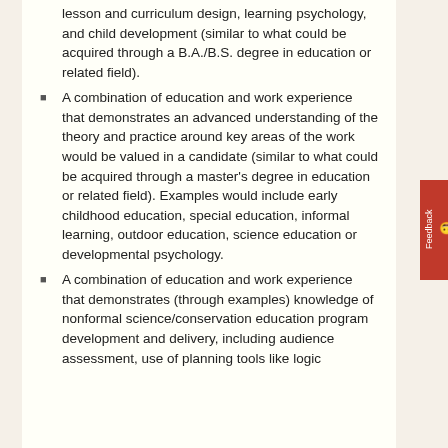lesson and curriculum design, learning psychology, and child development (similar to what could be acquired through a B.A./B.S. degree in education or related field).
A combination of education and work experience that demonstrates an advanced understanding of the theory and practice around key areas of the work would be valued in a candidate (similar to what could be acquired through a master's degree in education or related field). Examples would include early childhood education, special education, informal learning, outdoor education, science education or developmental psychology.
A combination of education and work experience that demonstrates (through examples) knowledge of nonformal science/conservation education program development and delivery, including audience assessment, use of planning tools like logic